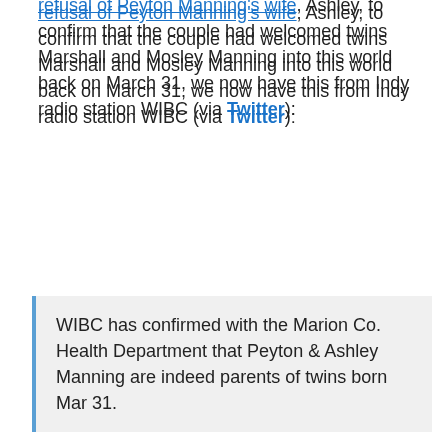refusal of Peyton Manning's wife, Ashley, to confirm that the couple had welcomed twins Marshall and Mosley Manning into this world back on March 31, we now have this from Indy radio station WIBC (via Twitter):
WIBC has confirmed with the Marion Co. Health Department that Peyton & Ashley Manning are indeed parents of twins born Mar 31.
So, there you have it. Unless the Marion County Health Department (which is the health department for the city of Indianapolis, where the twins were born), the Mississippi newspaper The Neshoba Democrat, former University of Tennessee football coach Phillip Fulmer, and Peyton's own mother are all lying in one big, vast conspiracy to mess with our